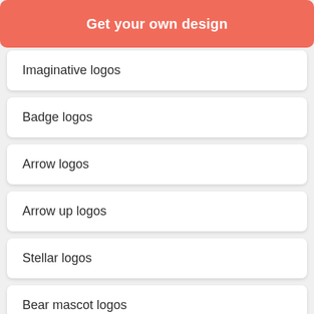Get your own design
Imaginative logos
Badge logos
Arrow logos
Arrow up logos
Stellar logos
Bear mascot logos